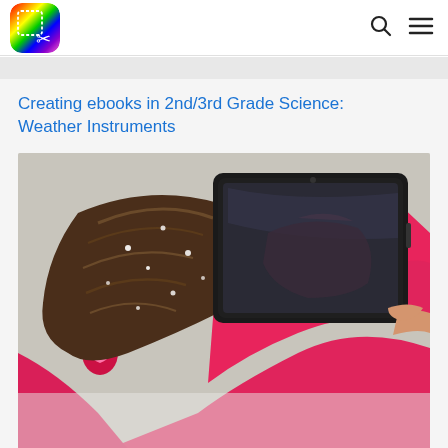[App logo] [Search icon] [Menu icon]
Creating ebooks in 2nd/3rd Grade Science: Weather Instruments
[Figure (photo): A young girl in a pink jacket with snow in her hair, photographed from above/behind, holding up a tablet device outdoors in snowy conditions]